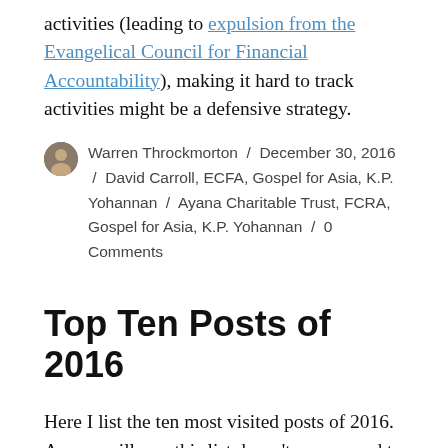activities (leading to expulsion from the Evangelical Council for Financial Accountability), making it hard to track activities might be a defensive strategy.
Warren Throckmorton / December 30, 2016 / David Carroll, ECFA, Gospel for Asia, K.P. Yohannan / Ayana Charitable Trust, FCRA, Gospel for Asia, K.P. Yohannan / 0 Comments
Top Ten Posts of 2016
Here I list the ten most visited posts of 2016. As you will see, this list doesn’t correspond to the top stories of the year.